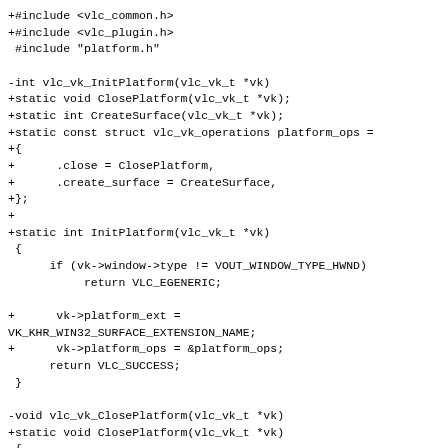+#include <vlc_common.h>
+#include <vlc_plugin.h>
 #include "platform.h"

-int vlc_vk_InitPlatform(vlc_vk_t *vk)
+static void ClosePlatform(vlc_vk_t *vk);
+static int CreateSurface(vlc_vk_t *vk);
+static const struct vlc_vk_operations platform_ops =
+{
+      .close = ClosePlatform,
+      .create_surface = CreateSurface,
+};
+
+static int InitPlatform(vlc_vk_t *vk)
 {
      if (vk->window->type != VOUT_WINDOW_TYPE_HWND)
           return VLC_EGENERIC;

+      vk->platform_ext =
VK_KHR_WIN32_SURFACE_EXTENSION_NAME;
+      vk->platform_ops = &platform_ops;
      return VLC_SUCCESS;
 }

-void vlc_vk_ClosePlatform(vlc_vk_t *vk)
+static void ClosePlatform(vlc_vk_t *vk)
 {
      VLC_UNUSED(vk);
 }